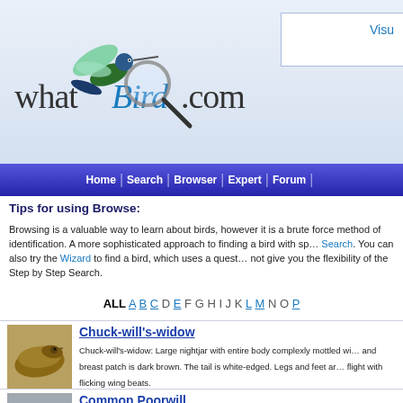[Figure (logo): WhatBird.com logo with hummingbird and magnifying glass]
Home | Search | Browser | Expert | Forum
Tips for using Browse:
Browsing is a valuable way to learn about birds, however it is a brute force method of identification. A more sophisticated approach to finding a bird with specific features is the Step by Step Search. You can also try the Wizard to find a bird, which uses a question and answer method, but does not give you the flexibility of the Step by Step Search.
ALL A B C D E F G H I J K L M N O P
[Figure (photo): Chuck-will's-widow bird photo]
Chuck-will's-widow: Large nightjar with entire body complexly mottled with brown, gray, and black. Throat and breast patch is dark brown. The tail is white-edged. Legs and feet are small. Swift, direct flight with flicking wing beats.
[Figure (photo): Common Poorwill bird photo]
Common Poorwill: Small, stocky nightjar with pale brown mottled body and white-tipped, barred underparts. Wings are rounded and tail is short and fan-shaped with white tips. Small feet. Silent flight on quick shallow wing beats.
[Figure (photo): Common Nighthawk bird photo]
Common Nighthawk: Medium nightjar with white-speckled, dark upperparts and white throat. Wings are long, dark gray with white bars, nearly covering the tail. Swift flight with frequent changes of direction.